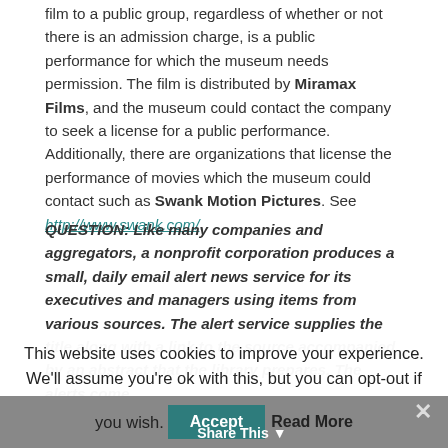film to a public group, regardless of whether or not there is an admission charge, is a public performance for which the museum needs permission. The film is distributed by Miramax Films, and the museum could contact the company to seek a license for a public performance. Additionally, there are organizations that license the performance of movies which the museum could contact such as Swank Motion Pictures. See http://www.swank.com/.
QUESTION: Like many companies and aggregators, a nonprofit corporation produces a small, daily email alert news service for its executives and managers using items from various sources. The alert service supplies the title along with a link to the source accompanied by an abstract that the library prepares. The alerts come
This website uses cookies to improve your experience. We'll assume you're ok with this, but you can opt-out if you wish. Accept Read More Share This ×